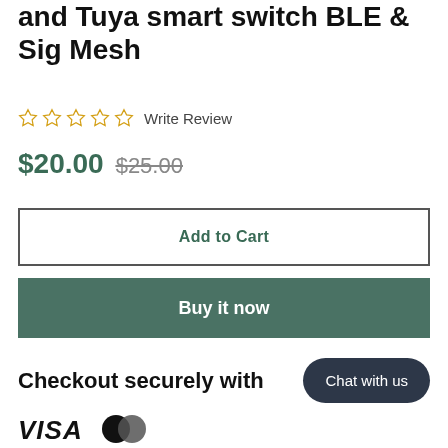and Tuya smart switch BLE & Sig Mesh
☆ ☆ ☆ ☆ ☆ Write Review
$20.00 $25.00
Add to Cart
Buy it now
Checkout securely with
Chat with us
[Figure (logo): VISA logo and Mastercard logo]